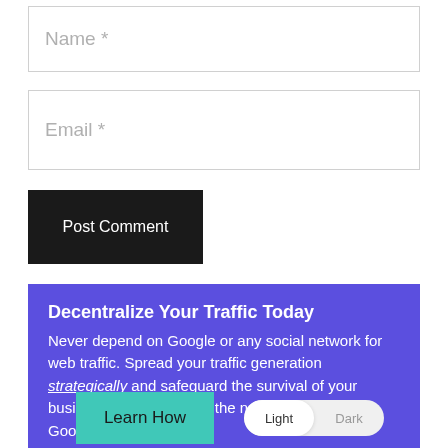Name *
Email *
Post Comment
Decentralize Your Traffic Today
Never depend on Google or any social network for web traffic. Spread your traffic generation strategically and safeguard the survival of your business no matter what the next update from Google or Facebook is!
Learn How
Light  Dark